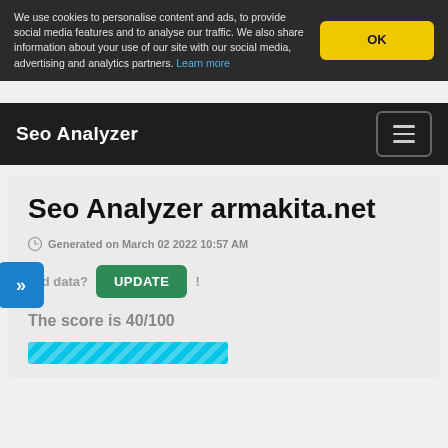We use cookies to personalise content and ads, to provide social media features and to analyse our traffic. We also share information about your use of our site with our social media, advertising and analytics partners. Learn more
OK
Seo Analyzer
Seo Analyzer armakita.net
Generated on March 02 2022 10:57 AM
Old data? UPDATE !
The score is 40/100